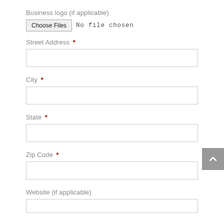Business logo (if applicable)
Choose Files  No file chosen
Street Address *
City *
State *
Zip Code *
Website (if applicable)